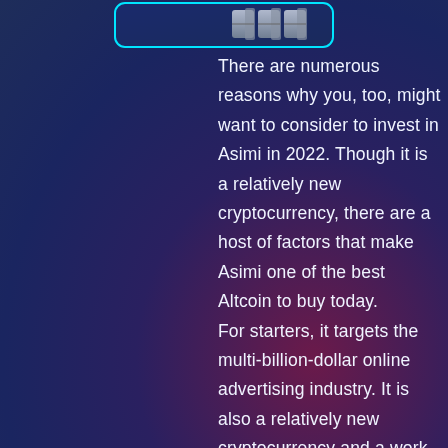[Figure (other): Top banner/logo area with cyan border showing metallic block icons on dark blue background]
There are numerous reasons why you, too, might want to consider to invest in Asimi in 2022. Though it is a relatively new cryptocurrency, there are a host of factors that make Asimi one of the best Altcoin to buy today.
For starters, it targets the multi-billion-dollar online advertising industry. It is also a relatively new cryptocurrency and a work in progress. Its developers are already working on ground-breaking technologies that they hope will improve its investor appeal and grow its use cases.
If you are looking to create a crypto investment portfolio, or grow an existing one, here are five reasons why you should